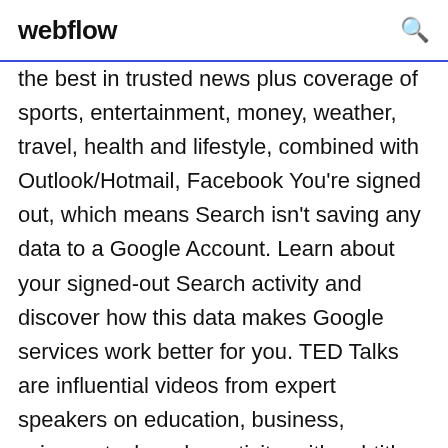webflow
the best in trusted news plus coverage of sports, entertainment, money, weather, travel, health and lifestyle, combined with Outlook/Hotmail, Facebook You're signed out, which means Search isn't saving any data to a Google Account. Learn about your signed-out Search activity and discover how this data makes Google services work better for you. TED Talks are influential videos from expert speakers on education, business, science, tech and creativity, with subtitles in 100+ languages. Ideas free to stream and download. PubMed Central® (PMC) is a free full-text archive of biomedical and life sciences journal literature at the U.S. National Institutes of Health's